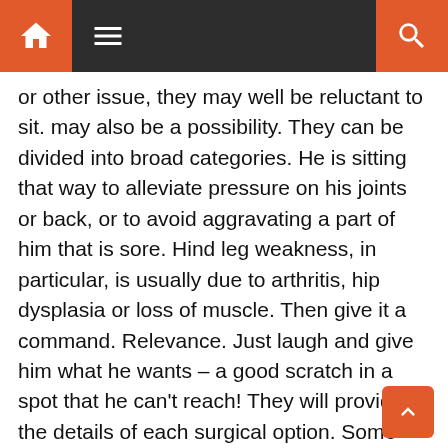Navigation bar with home, menu, and search icons
or other issue, they may well be reluctant to sit. may also be a possibility. They can be divided into broad categories. He is sitting that way to alleviate pressure on his joints or back, or to avoid aggravating a part of him that is sore. Hind leg weakness, in particular, is usually due to arthritis, hip dysplasia or loss of muscle. Then give it a command. Relevance. Just laugh and give him what he wants – a good scratch in a spot that he can't reach! They will provide the details of each surgical option. Some people are able to treat their dog with nutritional supplements and avoid surgery. You may be deciding what to do next, or you may have already decided, and want to know what to expect. Photo: bhumann34 Why Are My Dog's Back Legs Suddenly Not Working? Up there on the list of "but seriously why" behaviors dogs engage in is the